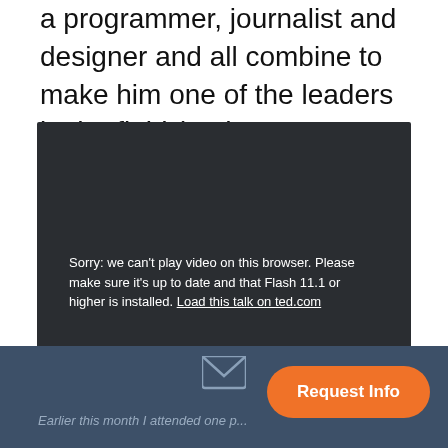a programmer, journalist and designer and all combine to make him one of the leaders in the field (and you can't get much more 'thought-leader' than giving a TED talk).
[Figure (screenshot): Dark video player area showing error message: 'Sorry: we can't play video on this browser. Please make sure it's up to date and that Flash 11.1 or higher is installed. Load this talk on ted.com']
Earlier this month I attended one p...